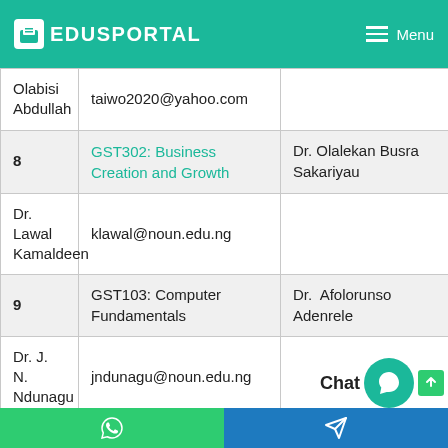EDUSPORTAL  Menu
| # | Course | Lecturer |
| --- | --- | --- |
|  | Olabisi
Abdullah | taiwo2020@yahoo.com |  |
| 8 | GST302: Business Creation and Growth | Dr. Olalekan Busra Sakariyau |
|  | Dr. Lawal
Kamaldeen | klawal@noun.edu.ng |  |
| 9 | GST103: Computer Fundamentals | Dr. Afolorunso Adenrele |
|  | Dr. J. N.
Ndunagu | jndunagu@noun.edu.ng |  |
| 10 | GST107: A Study Guide | ...beck |